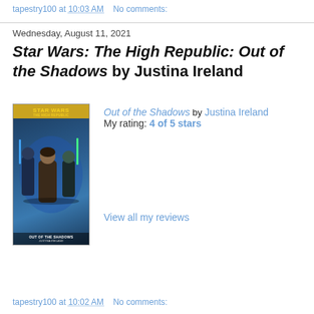tapestry100 at 10:03 AM   No comments:
Wednesday, August 11, 2021
Star Wars: The High Republic: Out of the Shadows by Justina Ireland
[Figure (photo): Book cover of Star Wars: The High Republic: Out of the Shadows by Justina Ireland, showing Jedi characters with lightsabers against a blue background]
Out of the Shadows by Justina Ireland
My rating: 4 of 5 stars

View all my reviews
tapestry100 at 10:02 AM   No comments: